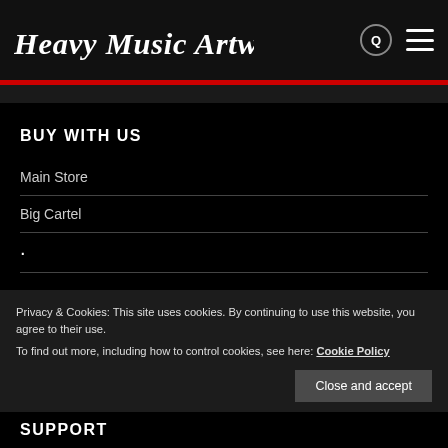Heavy Music Artwork
BUY WITH US
Main Store
Big Cartel
·
Privacy & Cookies: This site uses cookies. By continuing to use this website, you agree to their use.
To find out more, including how to control cookies, see here: Cookie Policy
Close and accept
SUPPORT